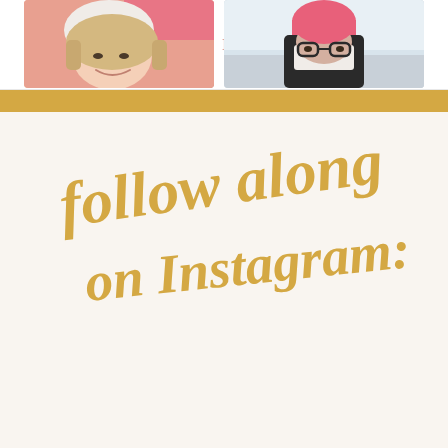THIS RENEGADE LOVE
follow along on Instagram:
[Figure (photo): Close-up selfie photo of a smiling blonde woman wearing a white knit hat and pink sweater]
[Figure (photo): Outdoor photo of a person wearing a bright pink beanie hat, glasses, and dark jacket with white scarf, at a beach or outdoor setting]